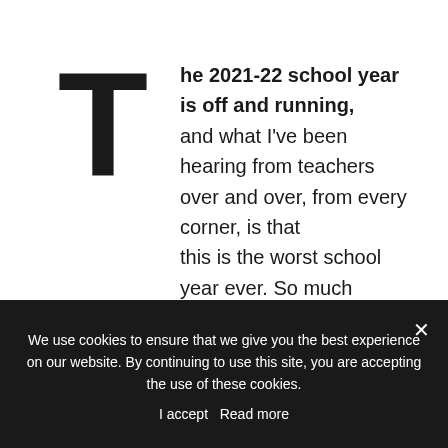The 2021-22 school year is off and running, and what I've been hearing from teachers over and over, from every corner, is that this is the worst school year ever. So much worse than 2020, which should have easily held the title for “worst year ever” in every category, for a long, long time.
We use cookies to ensure that we give you the best experience on our website. By continuing to use this site, you are accepting the use of these cookies.
I accept   Read more